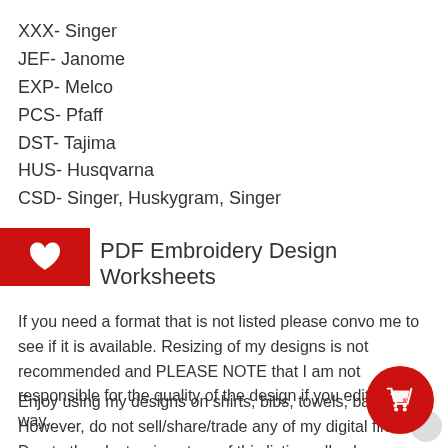XXX- Singer
JEF- Janome
EXP- Melco
PCS- Pfaff
DST- Tajima
HUS- Husqvarna
CSD- Singer, Huskygram, Singer
PDF Embroidery Design Worksheets
If you need a format that is not listed please convo me to see if it is available. Resizing of my designs is not recommended and PLEASE NOTE that I am not responsible for the quality of the design if you edit it in any way.
Enjoy using my designs on shirts, bibs, towels, bags. However, do not sell/share/trade any of my digital files. Due to the electronic nature of this listing, all sales are final.